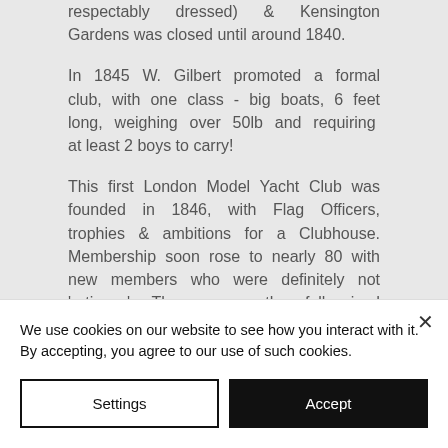respectably dressed) & Kensington Gardens was closed until around 1840.
In 1845 W. Gilbert promoted a formal club, with one class - big boats, 6 feet long, weighing over 50lb and requiring at least 2 boys to carry!
This first London Model Yacht Club was founded in 1846, with Flag Officers, trophies & ambitions for a Clubhouse. Membership soon rose to nearly 80 with new members who were definitely not 'artisans'. These were the full sized yachtsmen who introduced new classes – 1/12 scale models or prototypes, also a
We use cookies on our website to see how you interact with it. By accepting, you agree to our use of such cookies.
Settings
Accept